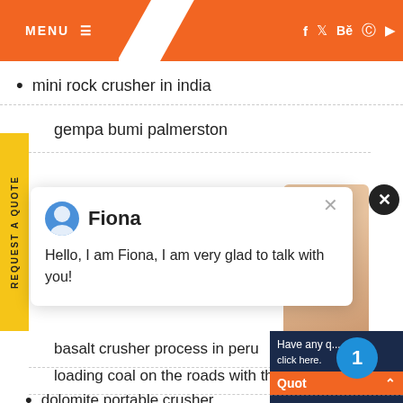MENU ≡  [social icons: f, twitter, Be, pinterest, youtube]
mini rock crusher in india
gempa bumi palmerston
Fiona
Hello, I am Fiona, I am very glad to talk with you!
basalt crusher process in peru
loading coal on the roads with the
dolomite portable crusher
Have any [question] click here.
Quot
Enquiry
drobikalm
REQUEST A QUOTE